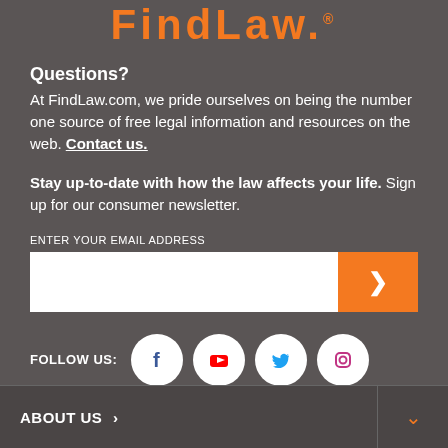FindLaw®
Questions?
At FindLaw.com, we pride ourselves on being the number one source of free legal information and resources on the web. Contact us.
Stay up-to-date with how the law affects your life. Sign up for our consumer newsletter.
ENTER YOUR EMAIL ADDRESS
[Figure (other): Email input field with orange submit arrow button]
FOLLOW US:
[Figure (other): Social media icons: Facebook, YouTube, Twitter, Instagram]
ABOUT US >